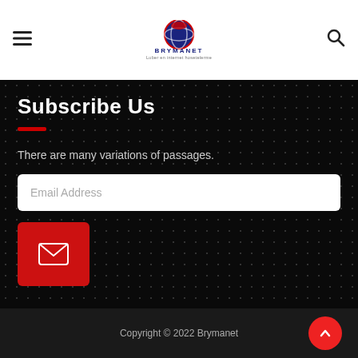BRYMANET — navigation header with hamburger menu, logo, and search icon
Subscribe Us
There are many variations of passages.
Email Address (input field placeholder)
[Figure (other): Red submit button with envelope/mail icon]
Copyright © 2022 Brymanet